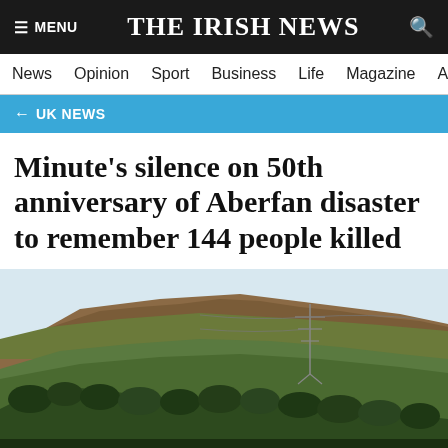☰ MENU   THE IRISH NEWS   🔍
News   Opinion   Sport   Business   Life   Magazine   Arts
← UK NEWS
Minute's silence on 50th anniversary of Aberfan disaster to remember 144 people killed
[Figure (photo): Aerial landscape photo showing a Welsh hillside with green and brown moorland, a electricity pylon, and wooded valley below with a pale sky — the Aberfan area landscape.]